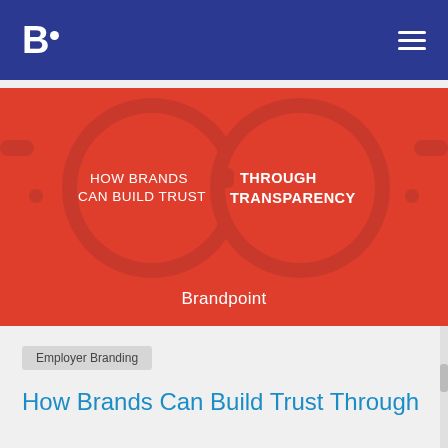B. [logo with hamburger menu]
[Figure (illustration): Red background infographic with glasses illustration. Left lens text: 'HOW BRANDS CAN BUILD TRUST'. Right lens text: 'THROUGH TRANSPARENCY'. Bottom center: 'Brandpoint' wordmark in white.]
Employer Branding
How Brands Can Build Trust Through